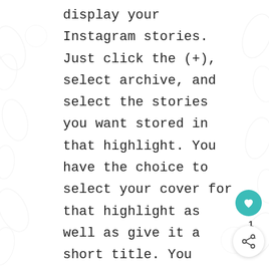display your Instagram stories. Just click the (+), select archive, and select the stories you want stored in that highlight. You have the choice to select your cover for that highlight as well as give it a short title. You could select a story picture for that highlight cover OR you can use ICONS to give your Instagram profile a cohesive, professional, easy to navigate look!